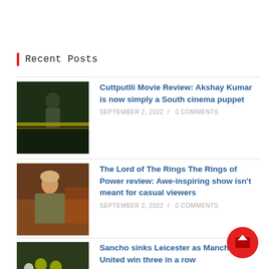Recent Posts
Cuttputlli Movie Review: Akshay Kumar is now simply a South cinema puppet — SEPTEMBER 2, 2022 / 0 COMMENTS
The Lord of The Rings The Rings of Power review: Awe-inspiring show isn't meant for casual viewers — SEPTEMBER 2, 2022 / 0 COMMENTS
Sancho sinks Leicester as Manchester United win three in a row — SEPTEMBER 2, 2022 / 0 COMMENTS